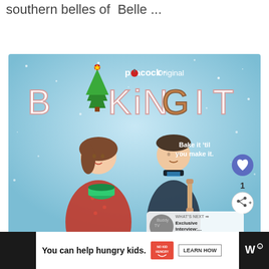southern belles of  Belle ...
[Figure (photo): Promotional image for 'Baking It', a Peacock Original show. Shows a woman in a red dress holding a green bowl and a man in a black sweater holding a rolling pin, both standing against a snowy blue background. Text reads 'A peacock Original' and 'BAKING IT' with 'Bake it til you make it.' tagline. UI overlay elements including heart button, share button with count 1, and a 'What's Next' panel showing 'Exclusive Interview:...']
You can help hungry kids.
NO KID HUNGRY
LEARN HOW